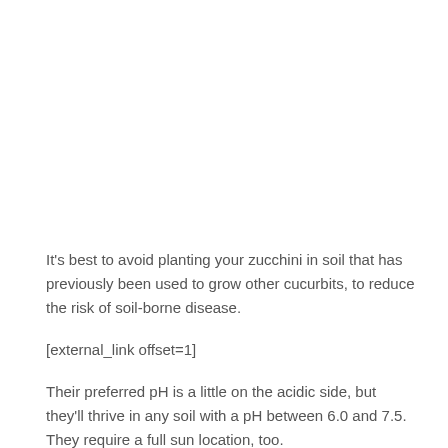It's best to avoid planting your zucchini in soil that has previously been used to grow other cucurbits, to reduce the risk of soil-borne disease.
[external_link offset=1]
Their preferred pH is a little on the acidic side, but they'll thrive in any soil with a pH between 6.0 and 7.5. They require a full sun location, too.